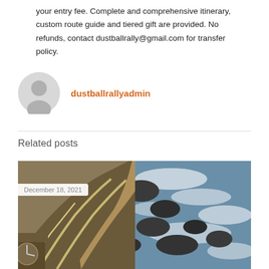your entry fee. Complete and comprehensive itinerary, custom route guide and tiered gift are provided. No refunds, contact dustballrally@gmail.com for transfer policy.
dustballrallyadmin
[Figure (other): Circular grey avatar/profile icon placeholder]
Related posts
[Figure (photo): Aerial photo of a coastal road/seawall with rocks and ocean waves, viewed from above]
December 18, 2021